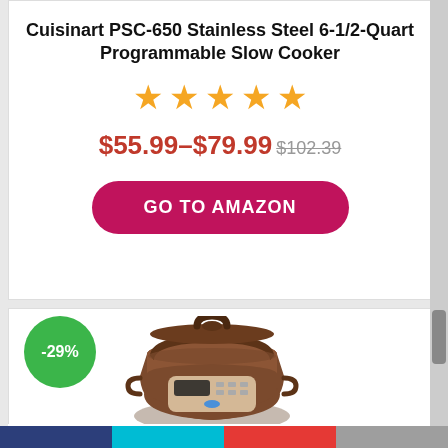Cuisinart PSC-650 Stainless Steel 6-1/2-Quart Programmable Slow Cooker
[Figure (other): Five orange star rating icons]
$55.99–$79.99 $102.39
GO TO AMAZON
[Figure (photo): Brown clay pot electric stew cooker with lid and digital display panel, product image with -29% discount badge]
Sonya 3.0L Electric Stew Cooker/Claypot STC-30